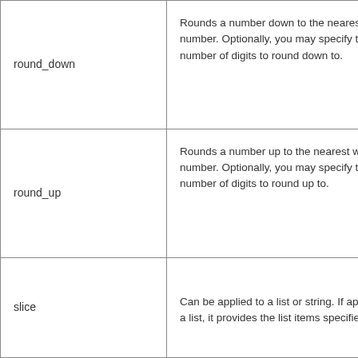| round_down | Rounds a number down to the nearest whole number. Optionally, you may specify the number of digits to round down to. |
| round_up | Rounds a number up to the nearest whole number. Optionally, you may specify the number of digits to round up to. |
| slice | Can be applied to a list or string. If applied to a list, it provides the list items specified. If |